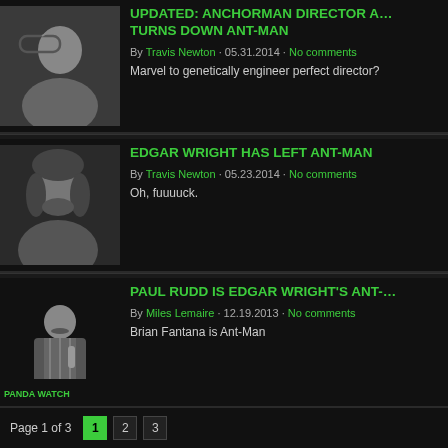UPDATED: ANCHORMAN DIRECTOR A… TURNS DOWN ANT-MAN
By Travis Newton · 05.31.2014 · No comments
Marvel to genetically engineer perfect director?
EDGAR WRIGHT HAS LEFT ANT-MAN
By Travis Newton · 05.23.2014 · No comments
Oh, fuuuuck.
PAUL RUDD IS EDGAR WRIGHT'S ANT-…
By Miles Lemaire · 12.19.2013 · No comments
Brian Fantana is Ant-Man
Page 1 of 3   1  2  3